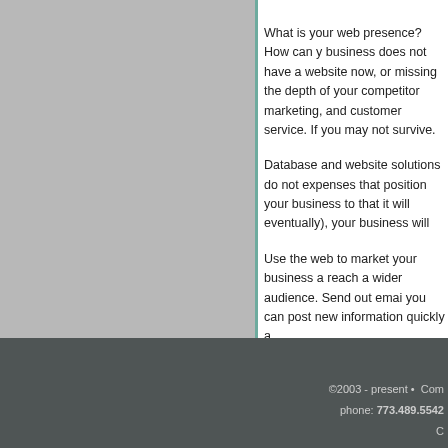What is your web presence? How can your business does not have a website now, or missing the depth of your competitors marketing, and customer service. If you may not survive.
Database and website solutions do not expenses that position your business to that it will eventually), your business will
Use the web to market your business a reach a wider audience. Send out emai you can post new information quickly a
No Comments »
©2003 - present • Com phone: 773.489.5542 C